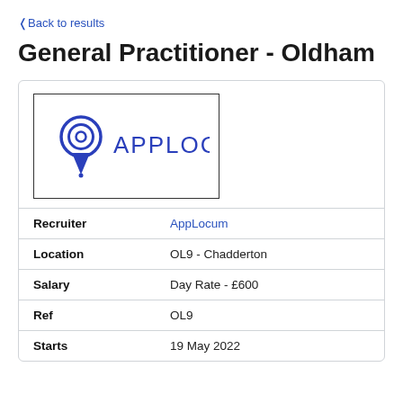Back to results
General Practitioner - Oldham
[Figure (logo): AppLocum company logo: a blue map pin icon with concentric circles followed by APPLOCUM text in blue]
| Recruiter | AppLocum |
| Location | OL9 - Chadderton |
| Salary | Day Rate - £600 |
| Ref | OL9 |
| Starts | 19 May 2022 |